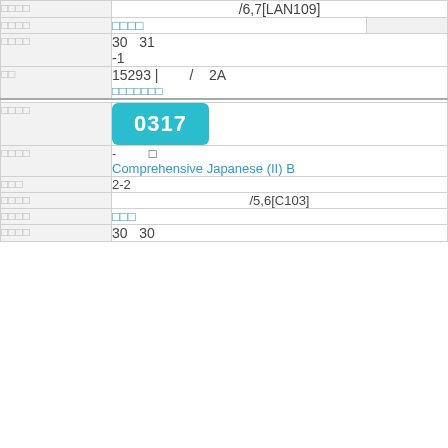| Label | Value |
| --- | --- |
| □□□□ | /6,7[LAN109] |
| □□□□ | □□□□ |
| □□□□ | 30  31
-1 |
| □□ | 15293 |  /  2A
□□□□□□□ |
| □□□□ | 0317 |
| □□□□ | -  □
Comprehensive Japanese (II) B |
| □□□ | 2-2 |
| □□□□ | /5,6[C103] |
| □□□□ | □□□ |
| □□□□ | 30  30 |